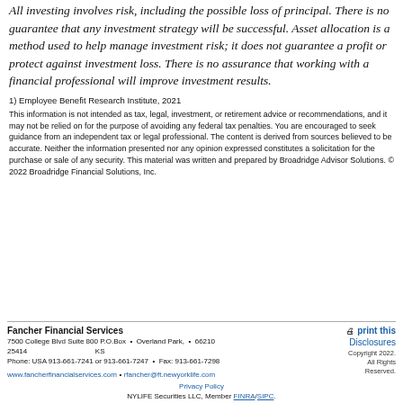All investing involves risk, including the possible loss of principal. There is no guarantee that any investment strategy will be successful. Asset allocation is a method used to help manage investment risk; it does not guarantee a profit or protect against investment loss. There is no assurance that working with a financial professional will improve investment results.
1) Employee Benefit Research Institute, 2021
This information is not intended as tax, legal, investment, or retirement advice or recommendations, and it may not be relied on for the purpose of avoiding any federal tax penalties. You are encouraged to seek guidance from an independent tax or legal professional. The content is derived from sources believed to be accurate. Neither the information presented nor any opinion expressed constitutes a solicitation for the purchase or sale of any security. This material was written and prepared by Broadridge Advisor Solutions. © 2022 Broadridge Financial Solutions, Inc.
Fancher Financial Services | 7500 College Blvd Suite 800 P.O.Box 25414 | Overland Park, KS | 66210 | Phone: USA 913-661-7241 or 913-661-7247 | Fax: 913-661-7298 | www.fancherfinancialservices.com | rfancher@ft.newyorklife.com | Copyright 2022. All Rights Reserved. | Privacy Policy | NYLIFE Securities LLC, Member FINRA/SIPC.